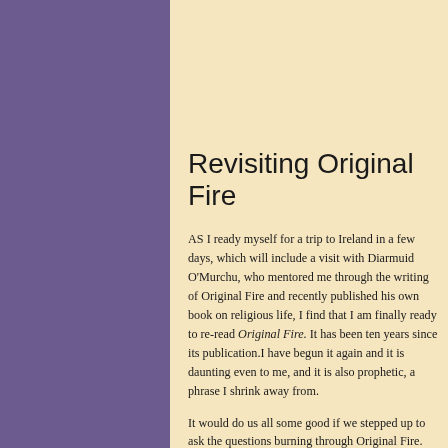Revisiting Original Fire
AS I ready myself for a trip to Ireland in a few days, which will include a visit with Diarmuid O'Murchu, who mentored me through the writing of Original Fire and recently published his own book on religious life, I find that I am finally ready to re-read Original Fire. It has been ten years since its publication.I have begun it again and it is daunting even to me, and it is also prophetic, a phrase I shrink away from.
It would do us all some good if we stepped up to ask the questions burning through Original Fire. What is happening now? How are we coming to completion, or fulfillment, or any other word we